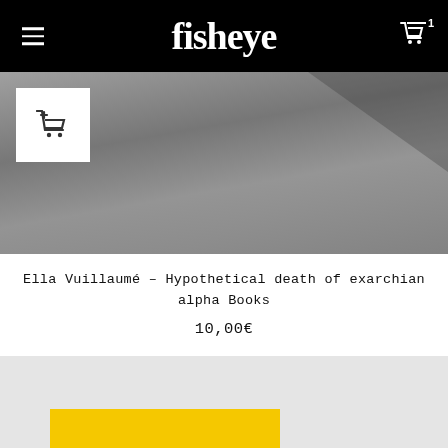fisheye
[Figure (photo): Product image showing a concrete or stone surface with an add-to-cart button overlay in the top left]
Ella Vuillaumé – Hypothetical death of exarchian alpha Books
10,00€
[Figure (photo): Product image on light grey background showing a yellow book with FRANÇOISE CHADAILLAC text, with a scroll-to-top button in the bottom right]